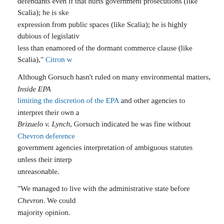defendants even if that hurts government prosecutions (like Scalia); he is sk... expression from public spaces (like Scalia); he is highly dubious of legislati... less than enamored of the dormant commerce clause (like Scalia)," Citron w...
Although Gorsuch hasn't ruled on many environmental matters, Inside EPA ... limiting the discretion of the EPA and other agencies to interpret their own a... Brizuelo v. Lynch, Gorsuch indicated he was fine without Chevron deference... government agencies interpretation of ambiguous statutes unless their interp... unreasonable.
"We managed to live with the administrative state before Chevron. We could... majority opinion.
In that opinion, Gorsuch argued that the meaning of the law is for judges, no...
"Where in all this does a court interpret the law and say what it is?" Gorsuch... independently decide what the statute means and whether it has or has not v... Where Chevron applies that job seems to have gone extinct."
Also this week, several of Trump's cabinet picks—Department of Energy Se... Attorney General nominee Jeff Sessions and Department of the Interior nom... committee approval and now move forward for consideration by the full Ser...
All 10 Democrats on the Senate Environment and Public Works Committee...